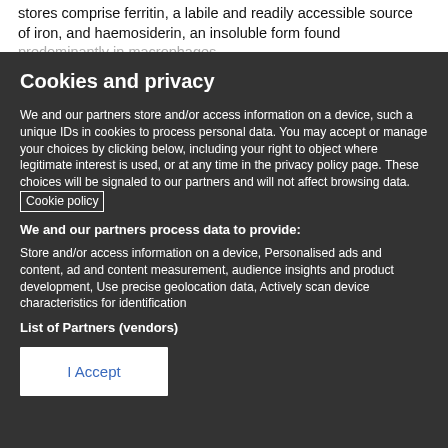stores comprise ferritin, a labile and readily accessible source of iron, and haemosiderin, an insoluble form found predominantly in macrophages.
Cookies and privacy
We and our partners store and/or access information on a device, such as unique IDs in cookies to process personal data. You may accept or manage your choices by clicking below, including your right to object where legitimate interest is used, or at any time in the privacy policy page. These choices will be signaled to our partners and will not affect browsing data. Cookie policy
We and our partners process data to provide:
Store and/or access information on a device, Personalised ads and content, ad and content measurement, audience insights and product development, Use precise geolocation data, Actively scan device characteristics for identification
List of Partners (vendors)
I Accept